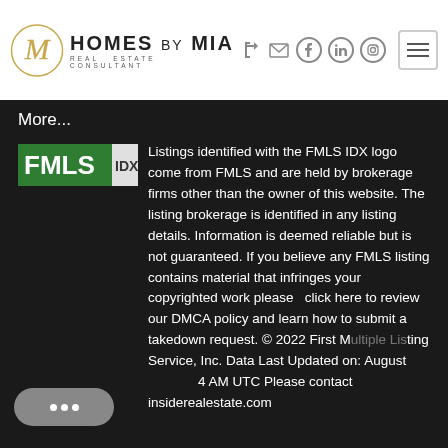[Figure (logo): Homes by Mia Real Estate Consultant logo with cursive M in circle and header navigation icons]
More...
[Figure (logo): FMLS IDX logo - green rectangle with white FMLS text and IDX text]
Listings identified with the FMLS IDX logo come from FMLS and are held by brokerage firms other than the owner of this website. The listing brokerage is identified in any listing details. Information is deemed reliable but is not guaranteed. If you believe any FMLS listing contains material that infringes your copyrighted work please click here to review our DMCA policy and learn how to submit a takedown request. © 2022 First Multiple Listing Service, Inc. Data Last Updated on: August 4 AM UTC Please contact insiderealestate.com if you experience any technical issues.